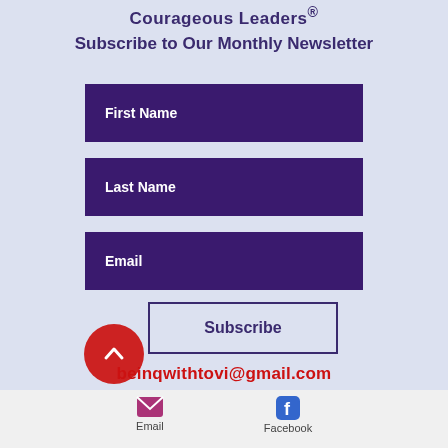Courageous Leaders®
Subscribe to Our Monthly Newsletter
First Name
Last Name
Email
Subscribe
beinqwithtovi@gmail.com
Email  Facebook